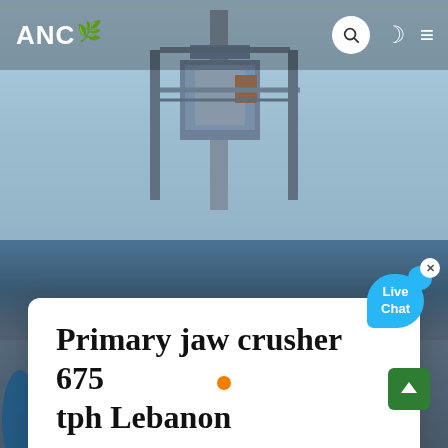[Figure (screenshot): Website screenshot showing an industrial jaw crusher machine in Lebanon. Background shows heavy industrial equipment with steel framework, conveyor belts, and crushing machinery against a light blue sky. Dark navigation bar at top with ANC logo and icons. White card overlay with article title. Live chat bubble in teal/blue. Carousel dots at bottom.]
ANC
Primary jaw crusher 675 tph Lebanon